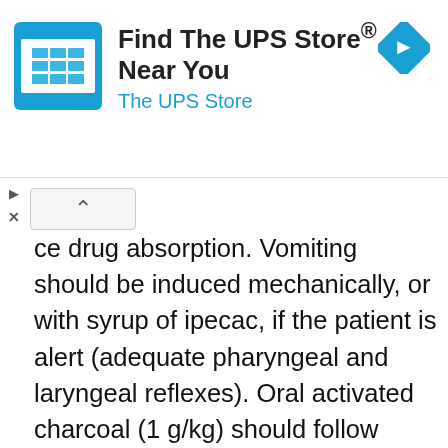[Figure (infographic): Advertisement banner for The UPS Store with logo icon and navigation arrow. Text reads 'Find The UPS Store® Near You' and 'The UPS Store'. Blue diamond arrow icon on right.]
ce drug absorption. Vomiting should be induced mechanically, or with syrup of ipecac, if the patient is alert (adequate pharyngeal and laryngeal reflexes). Oral activated charcoal (1 g/kg) should follow gastric emptying. The first dose should be accompanied by an appropriate cathartic. If repeated doses are used, the cathartic might be included with alternate doses as required. Hypotension is usually hypovolemic and should respond to fluids. Vasopressors and other supportive measures should be employed as indicated. A cuffed endo-tracheal tube should be inserted before